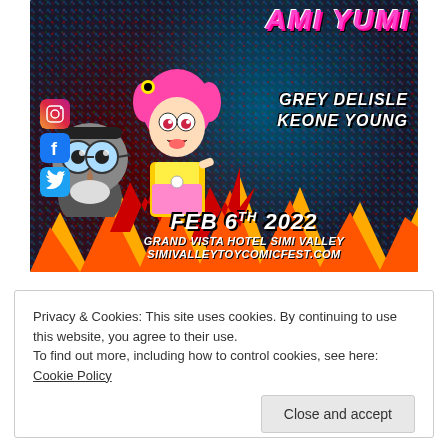[Figure (illustration): Event promotional poster for Hi Hi Puffy AmiYumi themed Simi Valley Toy Comic Fest. Features cartoon characters from the show, voice actors Grey DeLisle and Keone Young, event date Feb 6th 2022, Grand Vista Hotel Simi Valley, simivalleytoycomicfest.com, with Instagram, Facebook, Twitter social media icons. Colorful comic-book style with halftone dot background, lightning bolt shapes, and red/orange/yellow star burst accents.]
Privacy & Cookies: This site uses cookies. By continuing to use this website, you agree to their use.
To find out more, including how to control cookies, see here: Cookie Policy
Close and accept